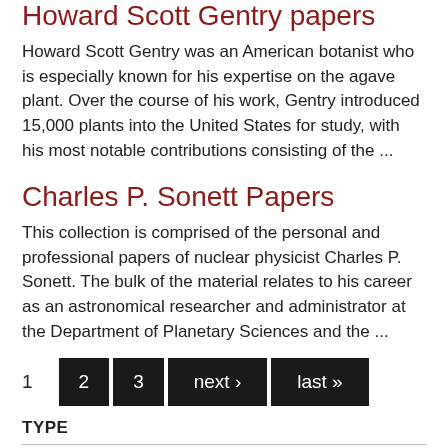Howard Scott Gentry papers
Howard Scott Gentry was an American botanist who is especially known for his expertise on the agave plant. Over the course of his work, Gentry introduced 15,000 plants into the United States for study, with his most notable contributions consisting of the ...
Charles P. Sonett Papers
This collection is comprised of the personal and professional papers of nuclear physicist Charles P. Sonett. The bulk of the material relates to his career as an astronomical researcher and administrator at the Department of Planetary Sciences and the ...
1  2  3  next ›  last »
TYPE
(-) Collection